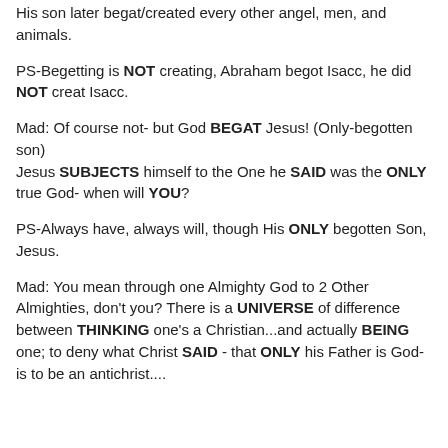His son later begat/created every other angel, men, and animals.
PS-Begetting is NOT creating, Abraham begot Isacc, he did NOT creat Isacc.
Mad: Of course not- but God BEGAT Jesus! (Only-begotten son)
Jesus SUBJECTS himself to the One he SAID was the ONLY true God- when will YOU?
PS-Always have, always will, though His ONLY begotten Son, Jesus.
Mad: You mean through one Almighty God to 2 Other Almighties, don't you? There is a UNIVERSE of difference between THINKING one's a Christian...and actually BEING one; to deny what Christ SAID - that ONLY his Father is God- is to be an antichrist....